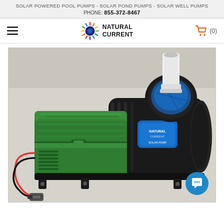SOLAR POWERED POOL PUMPS - SOLAR POND PUMPS - SOLAR WELL PUMPS
PHONE: 855-372-8467
[Figure (logo): Natural Current company logo with sunburst/gear icon and bold uppercase text NATURAL CURRENT]
[Figure (photo): Solar powered pool pump product photo showing a green control box/battery housing with red/black wiring and MC4 connector on the left, connected to a black pool pump motor with blue accents and a white PVC pipe inlet fitting on top, photographed on a light beige background. A teal chat bubble icon button is visible in the bottom-right corner.]